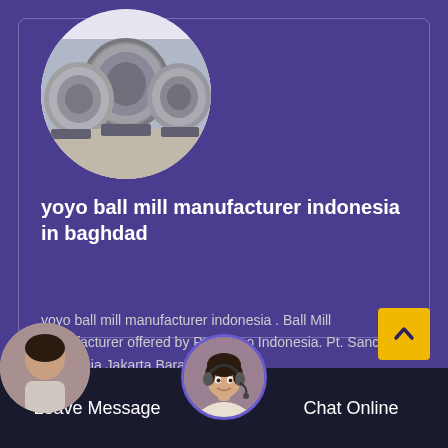[Figure (photo): Circular photo showing large industrial ball mill cylinders in a warehouse/factory setting. Steel cylindrical drums with flanged ends on a factory floor.]
yoyo ball mill manufacturer indonesia in baghdad
yoyo ball mill manufacturer indonesia . Ball Mill Manufacturer offered by Pt. Sanco Indonesia. Pt. Sanco Indonesia Jakarta Barat Indonesia...
[Figure (photo): Small circular avatar of a woman with headset, customer service representative, partially visible at bottom center.]
[Figure (photo): Partial circular avatar at bottom left, person partially visible.]
Leave Message
Chat Online